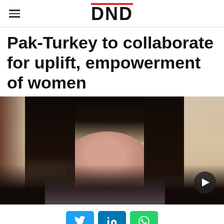DND
Pak-Turkey to collaborate for uplift, empowerment of women
[Figure (photo): A woman with long dark hair speaking, wearing a light purple/lavender outfit, photographed against a warm-toned curtain background. A dark circular play button icon is visible in the lower right corner of the image.]
[Figure (infographic): Social media share buttons: Twitter (blue bird icon), LinkedIn (blue 'in' icon), WhatsApp (green phone icon)]